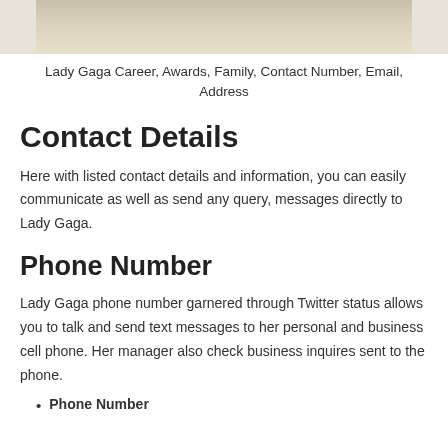[Figure (photo): Partial photo showing woven/rattan texture background, cropped at top of page]
Lady Gaga Career, Awards, Family, Contact Number, Email, Address
Contact Details
Here with listed contact details and information, you can easily communicate as well as send any query, messages directly to Lady Gaga.
Phone Number
Lady Gaga phone number garnered through Twitter status allows you to talk and send text messages to her personal and business cell phone. Her manager also check business inquires sent to the phone.
Phone Number